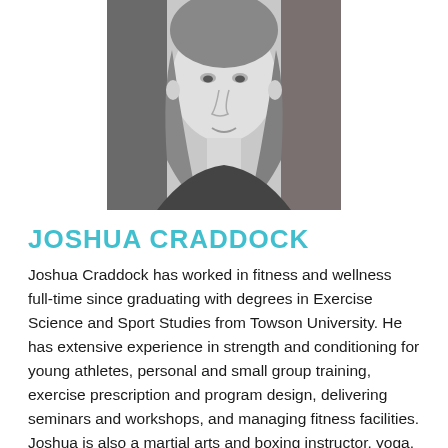[Figure (photo): Black and white headshot portrait of Joshua Craddock, a person with long hair, facing forward]
JOSHUA CRADDOCK
Joshua Craddock has worked in fitness and wellness full-time since graduating with degrees in Exercise Science and Sport Studies from Towson University. He has extensive experience in strength and conditioning for young athletes, personal and small group training, exercise prescription and program design, delivering seminars and workshops, and managing fitness facilities. Joshua is also a martial arts and boxing instructor, yoga,